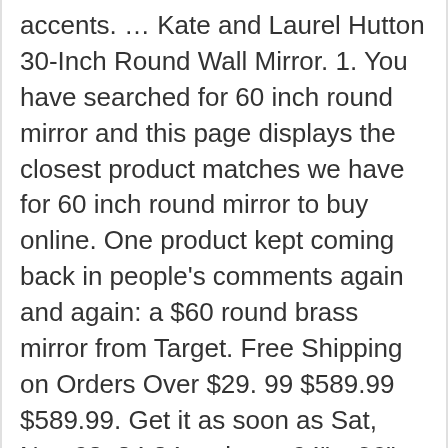accents. … Kate and Laurel Hutton 30-Inch Round Wall Mirror. 1. You have searched for 60 inch round mirror and this page displays the closest product matches we have for 60 inch round mirror to buy online. One product kept coming back in people's comments again and again: a $60 round brass mirror from Target. Free Shipping on Orders Over $29. 99 $589.99 $589.99. Get it as soon as Sat, Nov 28. 84 84 reviews. 24" x 36" Oval Farmhouse and Galvanized Accent Wall Mirror Wood/Metal/Off White - Patton Wall Decor. We recommend hanging this mirror above a console table in the entryway or a single vanity in a small bathroom. View our collection of espresso frames, white frames, black frames, gold frames, silver frames, or search by keywords: Square mirror custom framed with espresso, gold, cherry, dark silver, metallic, black, rustic bronze, wood grain, crimson red, walnut